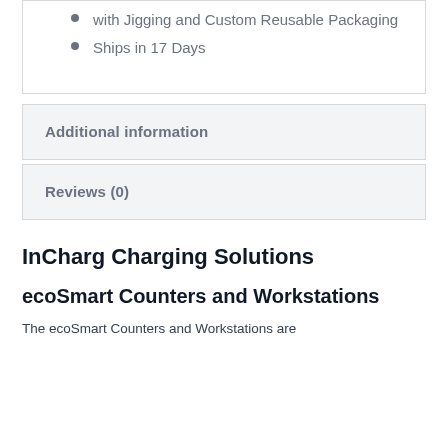with Jigging and Custom Reusable Packaging
Ships in 17 Days
Additional information
Reviews (0)
InCharg Charging Solutions
ecoSmart Counters and Workstations
The ecoSmart Counters and Workstations are